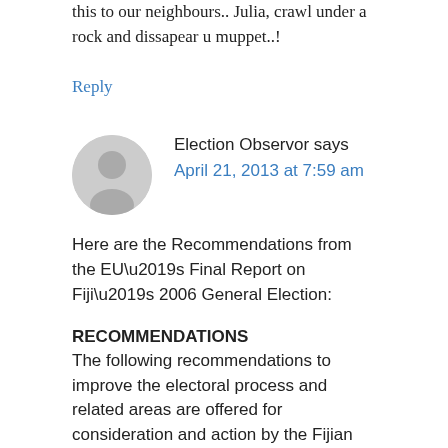this to our neighbours.. Julia, crawl under a rock and dissapear u muppet..!
Reply
Election Observor says
April 21, 2013 at 7:59 am
Here are the Recommendations from the EU’s Final Report on Fiji’s 2006 General Election:
RECOMMENDATIONS
The following recommendations to improve the electoral process and related areas are offered for consideration and action by the Fijian authorities and their international community...